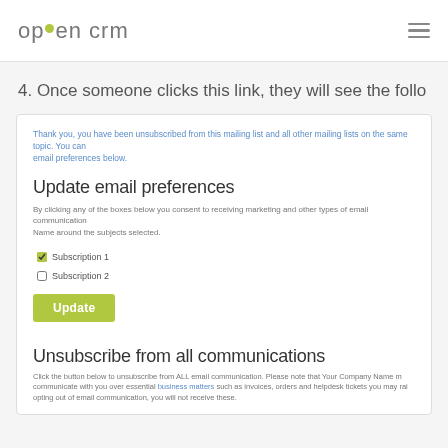opencrm
4. Once someone clicks this link, they will see the follo
Thank you, you have been unsubscribed from this mailing list and all other mailing lists on the same topic. You can email preferences below.
Update email preferences
By clicking any of the boxes below you consent to receiving marketing and other types of email communications from Your Company Name around the subjects selected.
Subscription 1
Subscription 2
Update
Unsubscribe from all communications
Click the button below to unsubscribe from ALL email communication. Please note that Your Company Name may still communicate with you over essential business matters such as invoices, orders and helpdesk tickets you may raise. By opting out of email communication, you will not receive these.